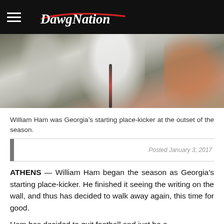DawgNation
[Figure (photo): Football players on the field, showing player in white Georgia Bulldogs uniform with grey pants with black and red stripe]
William Ham was Georgia's starting place-kicker at the outset of the season.
Posted January 3, 2017
ATHENS — William Ham began the season as Georgia's starting place-kicker. He finished it seeing the writing on the wall, and thus has decided to walk away again, this time for good.
Ham has decided to quit football and just be a